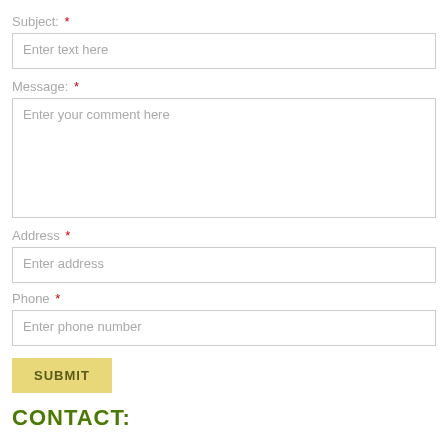Subject: *
Enter text here
Message: *
Enter your comment here
Address *
Enter address
Phone *
Enter phone number
SUBMIT
CONTACT: